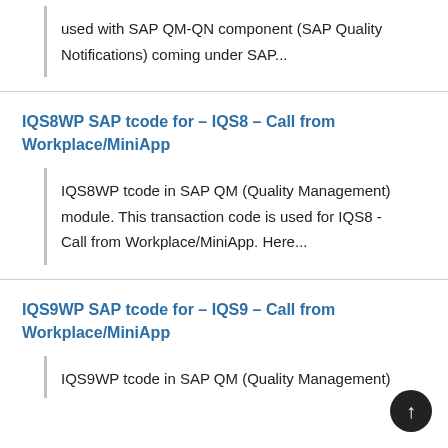used with SAP QM-QN component (SAP Quality Notifications) coming under SAP...
IQS8WP SAP tcode for – IQS8 – Call from Workplace/MiniApp
IQS8WP tcode in SAP QM (Quality Management) module. This transaction code is used for IQS8 - Call from Workplace/MiniApp. Here...
IQS9WP SAP tcode for – IQS9 – Call from Workplace/MiniApp
IQS9WP tcode in SAP QM (Quality Management)